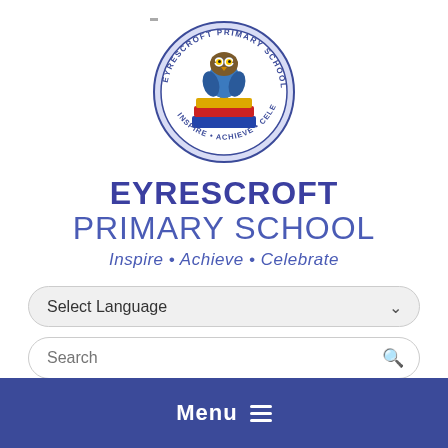[Figure (logo): Eyrescroft Primary School circular logo with an owl sitting on books, text around border reads EYRESCROFT PRIMARY SCHOOL, INSPIRE • ACHIEVE • CELEBRATE]
EYRESCROFT PRIMARY SCHOOL
Inspire • Achieve • Celebrate
Select Language
Search
Menu